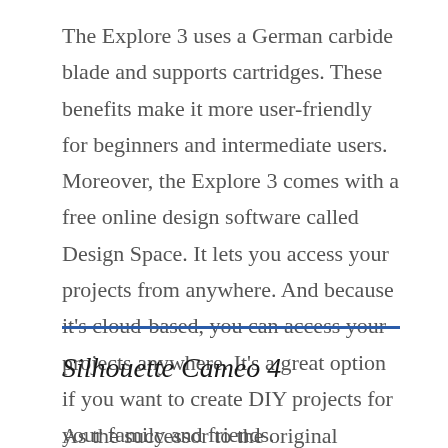The Explore 3 uses a German carbide blade and supports cartridges. These benefits make it more user-friendly for beginners and intermediate users. Moreover, the Explore 3 comes with a free online design software called Design Space. It lets you access your projects from anywhere. And because it's cloud-based, you can access your projects anywhere. It's a great option if you want to create DIY projects for your family and friends.
Silhouette Cameo 4
As the successor to the original Silhouette...